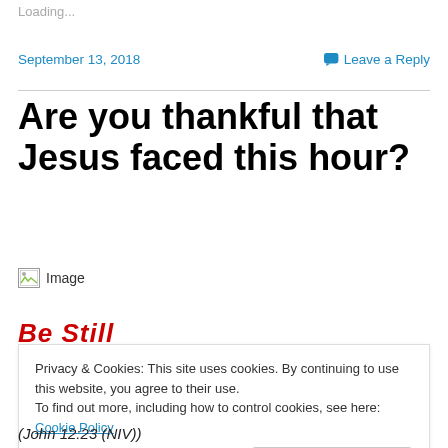Loading...
September 13, 2018
Leave a Reply
Are you thankful that Jesus faced this hour?
[Figure (photo): Broken image placeholder labeled 'Image']
Be Still
Privacy & Cookies: This site uses cookies. By continuing to use this website, you agree to their use.
To find out more, including how to control cookies, see here: Cookie Policy
Close and accept
(John 12:23 (NIV))